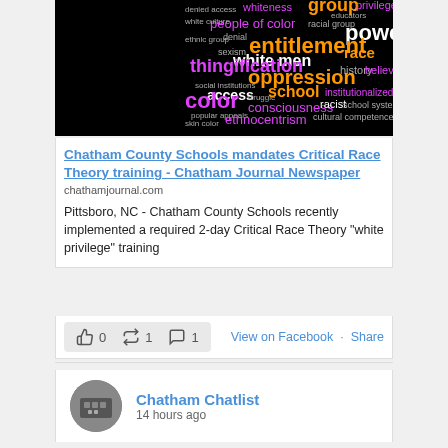[Figure (other): Word cloud on black background with terms related to Critical Race Theory including: whiteness, group, privilege, educators, denied access, people of color, racial group, power, cultural group, white culture, denial, entitlement, ethnic group, sexism, white men, race, thingification, oppression, history, believes, access, struggle, school, color, institutionalized oppression, consciousness, racist, school system, ethnocentrism, cultural competence theory]
Chatham County Schools mandates Critical Race Theory training - Chatham Journal Newspaper
chathamjournal.com
Pittsboro, NC - Chatham County Schools recently implemented a required 2-day Critical Race Theory "white privilege" training
0  1  1
View on Facebook · Share
Chatham Chatlist
14 hours ago